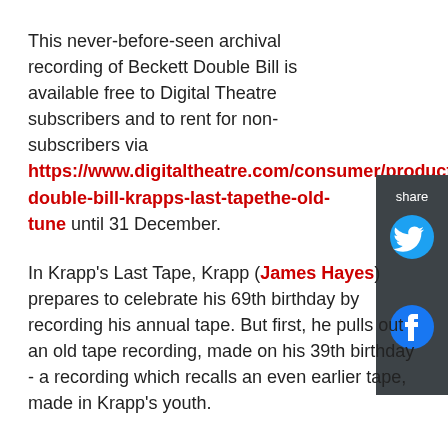This never-before-seen archival recording of Beckett Double Bill is available free to Digital Theatre subscribers and to rent for non-subscribers via https://www.digitaltheatre.com/consumer/productions/double-bill-krapps-last-tapethe-old-tune until 31 December.
[Figure (infographic): Share panel with dark grey background containing 'share' label, Twitter bird icon, and Facebook icon]
In Krapp's Last Tape, Krapp (James Hayes) prepares to celebrate his 69th birthday by recording his annual tape. But first, he pulls out an old tape recording, made on his 39th birthday - a recording which recalls an even earlier tape, made in Krapp's youth.